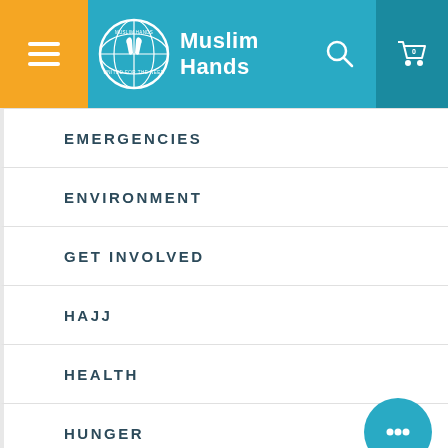Muslim Hands
EMERGENCIES
ENVIRONMENT
GET INVOLVED
HAJJ
HEALTH
HUNGER
ISLAM